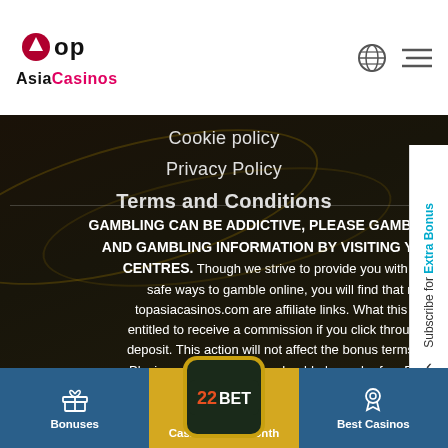Top Asia Casinos
Cookie policy
Privacy Policy
Terms and Conditions
GAMBLING CAN BE ADDICTIVE, PLEASE GAMBLE RESPONSIBLY. GET HELP AND GAMBLING INFORMATION BY VISITING YOUR LOCAL SUPPORT CENTRES. Though we strive to provide you with accurate information about safe ways to gamble online, you will find that many of the links on topasiacasinos.com are affiliate links. What this entails is that we may be entitled to receive a commission if you click through those links and make a deposit. This action will not affect the bonus terms in any way, shape or form. Playing at online casinos should always be fun. Please play responsibly and contact a problem gambling support centre if gambling is negatively
[Figure (logo): 22BET casino logo]
Bonuses | Casino of the Month | Best Casinos